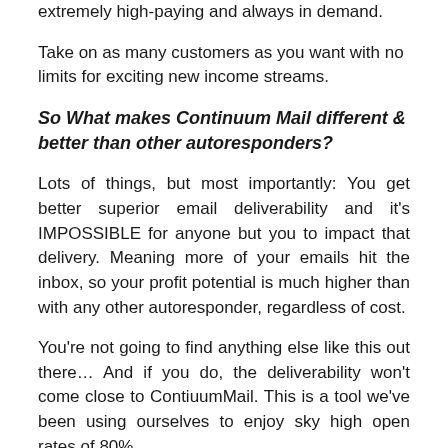extremely high-paying and always in demand.
Take on as many customers as you want with no limits for exciting new income streams.
So What makes Continuum Mail different & better than other autoresponders?
Lots of things, but most importantly: You get better superior email deliverability and it's IMPOSSIBLE for anyone but you to impact that delivery. Meaning more of your emails hit the inbox, so your profit potential is much higher than with any other autoresponder, regardless of cost.
You're not going to find anything else like this out there… And if you do, the deliverability won't come close to ContiuumMail. This is a tool we've been using ourselves to enjoy sky high open rates of 80%